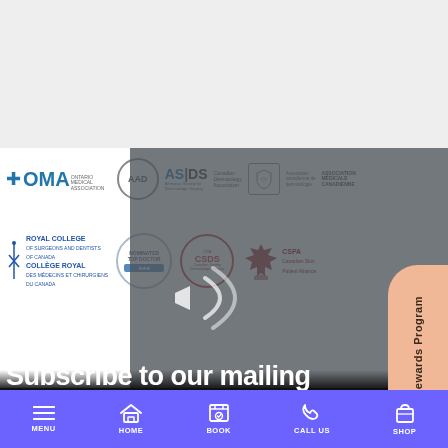[Figure (screenshot): Website screenshot showing medical association logos (OMA, AAD, ASDS, Canadian Dermatology Association, Royal College, CSDS, CSPA) with a gray semi-transparent overlay and a sound/video play indicator. A TDC Rewards Program pill button appears on the right side.]
Subscribe to our mailing
MENU | HOME | BOOK | CALL US | SHOP